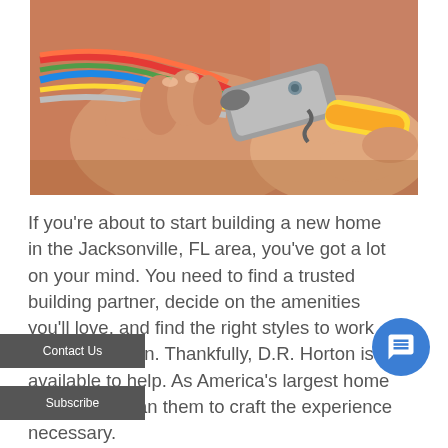[Figure (photo): Close-up photo of hands using yellow-handled wire stripping pliers/tool to strip colorful electrical wires (red, blue, green, yellow, white) against a brick background.]
If you're about to start building a new home in the Jacksonville, FL area, you've got a lot on your mind. You need to find a trusted building partner, decide on the amenities you'll love, and find the right styles to work with your vision. Thankfully, D.R. Horton is available to help. As America's largest home builder, you can them to craft the experience necessary.